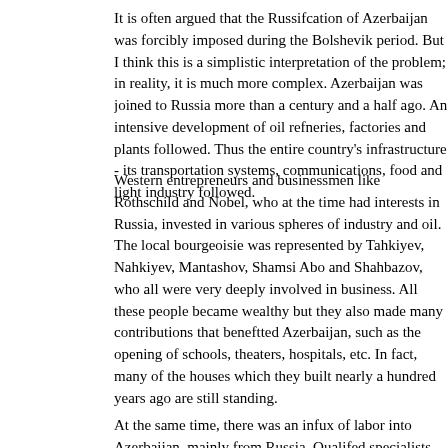It is often argued that the Russifcation of Azerbaijan was forcibly imposed during the Bolshevik period. But I think this is a simplistic interpretation of the problem; in reality, it is much more complex. Azerbaijan was joined to Russia more than a century and a half ago. An intensive development of oil refneries, factories and plants followed. Thus the entire country's infrastructure - its transportation systems, communications, food and light industry followed.
Western entrepreneurs and businessmen like Rothschild and Nobel, who at that time had interests in Russia, invested in various spheres of industry and oil. The local bourgeoisie was represented by Tahkiyev, Nahkiyev, Mantashov, Shamsi Aboa and Shahbazov, who all were very deeply involved in business. All these people became wealthy but they also made many contributions that beneftted Azerbaijan, such as the opening of schools, theaters, hospitals, etc. In fact, many of the houses which they built nearly a hundred years ago are still standing.
At the same time, there was an infux of labor into Azerbaijan, mainly from Russia. Qualifed specialists--engineers, oilmen, and chemists came from Russia and and a real industrial boon began. And thus Russian became the means of communication among these people.
The frst Azerbaijani specialists - doctors, engineers, and teachers began to receive their education at the universities of Moscow, St. Petersburg, Kiev and Kharkiv. By the time of the Revolution in 1917, the Baku proletariat actively reacted to all the new political tendencies in the country. After the sovietization of Azerbaijan, the process of development of the country became more intense. The frst electricity began to operate in Baku and the basis for an industrial complex was formed. An infux of Russian-speaking intelligentsia, specialists and labor entered the cou